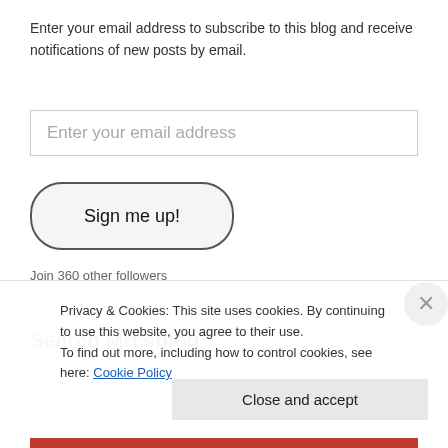Enter your email address to subscribe to this blog and receive notifications of new posts by email.
Enter your email address
Sign me up!
Join 360 other followers
Search Mrt'sblog
Privacy & Cookies: This site uses cookies. By continuing to use this website, you agree to their use. To find out more, including how to control cookies, see here: Cookie Policy
Close and accept